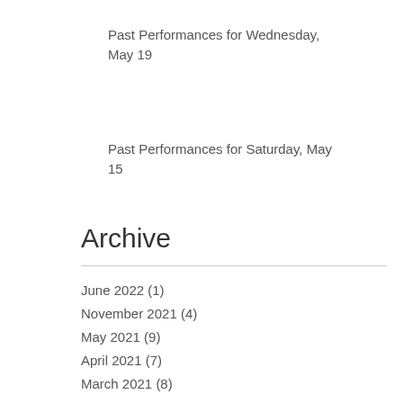Past Performances for Wednesday, May 19
Past Performances for Saturday, May 15
Archive
June 2022 (1)
November 2021 (4)
May 2021 (9)
April 2021 (7)
March 2021 (8)
February 2021 (5)
January 2021 (2)